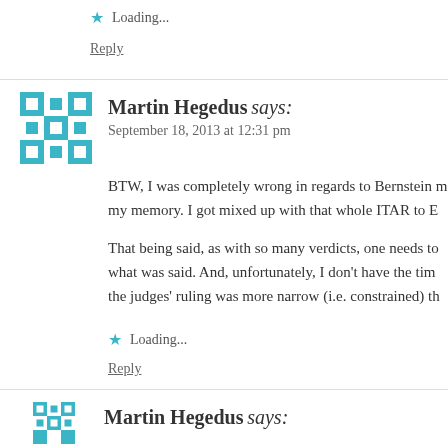Loading...
Reply
Martin Hegedus says:
September 18, 2013 at 12:31 pm
BTW, I was completely wrong in regards to Bernstein my memory. I got mixed up with that whole ITAR to E
That being said, as with so many verdicts, one needs to what was said. And, unfortunately, I don't have the tim the judges' ruling was more narrow (i.e. constrained) th
Loading...
Reply
Martin Hegedus says: